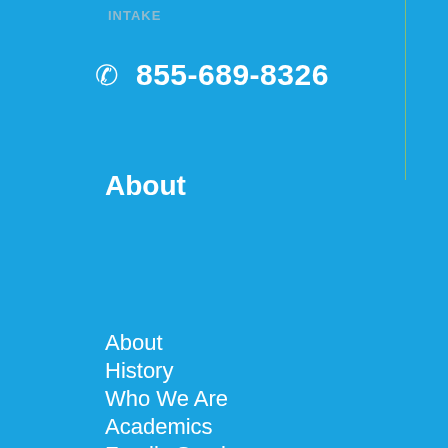INTAKE
855-689-8326
About
About
History
Who We Are
Academics
Family Services
FAQ
Testimonials
Employment
Privacy Policy